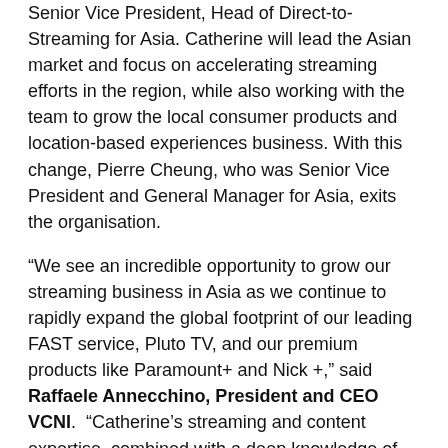Senior Vice President, Head of Direct-to-Streaming for Asia. Catherine will lead the Asian market and focus on accelerating streaming efforts in the region, while also working with the team to grow the local consumer products and location-based experiences business. With this change, Pierre Cheung, who was Senior Vice President and General Manager for Asia, exits the organisation.
“We see an incredible opportunity to grow our streaming business in Asia as we continue to rapidly expand the global footprint of our leading FAST service, Pluto TV, and our premium products like Paramount+ and Nick +,” said Raffaele Annecchino, President and CEO VCNI.  “Catherine’s streaming and content expertise, combined with a deep knowledge of the region, will undoubtedly bring our business in Asia to the next level.”
“I am thrilled to join ViacomCBS at a time where the